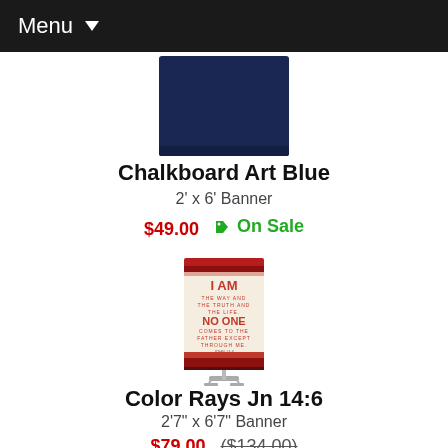Menu
[Figure (photo): Partial view of a dark navy blue banner product (Chalkboard Art Blue), cropped at top]
Chalkboard Art Blue
2' x 6' Banner
$49.00 🏷 On Sale
[Figure (photo): A retractable banner stand displaying 'I AM THE WAY AND THE TRUTH AND THE LIFE. NO ONE COMES TO THE FATHER EXCEPT THROUGH ME. John 14:6' with red and cream color design]
Color Rays Jn 14:6
2'7" x 6'7" Banner
$79.00 ($134.00)